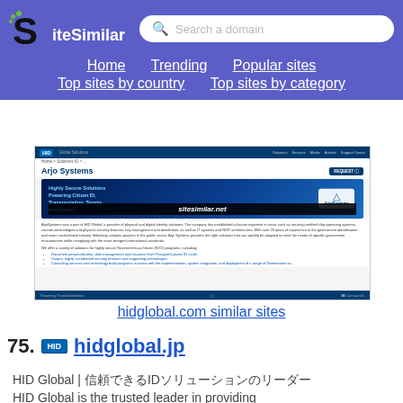SiteSimilar — Search a domain — Home Trending Popular sites Top sites by country Top sites by category
[Figure (screenshot): Screenshot of hidglobal.com showing Arjo Systems page with HID Global branding, banner image with 'Highly Secure Solutions Powering Citizen ID, Transportation, Sports and Events' text, ArjoSystems logo, sitesimilar.net watermark, and body text about HID Global services.]
hidglobal.com similar sites
75. hidglobal.jp
HID Global | 信頼できるIDソリューションのリーダー
HID Global is the trusted leader in providing